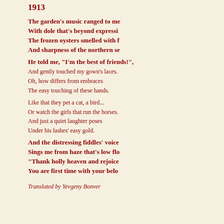1913
The garden's music ranged to me
With dole that's beyond expression,
The frozen oysters smelled with fresh
And sharpness of the northern sea.
He told me, "I'm the best of friends!",
And gently touched my gown's laces.
Oh, how differs from embraces
The easy touching of these hands.
Like that they pet a cat, a bird...
Or watch the girls that run the horses.
And just a quiet laughter poses
Under his lashes' easy gold.
And the distressing fiddles' voice
Sings me from haze that's low floating,
"Thank holly heaven and rejoice,
You are first time with your belo
Translated by Yevgeny Bonver